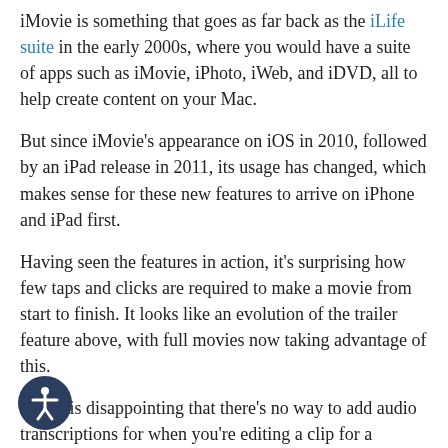iMovie is something that goes as far back as the iLife suite in the early 2000s, where you would have a suite of apps such as iMovie, iPhoto, iWeb, and iDVD, all to help create content on your Mac.
But since iMovie's appearance on iOS in 2010, followed by an iPad release in 2011, its usage has changed, which makes sense for these new features to arrive on iPhone and iPad first.
Having seen the features in action, it's surprising how few taps and clicks are required to make a movie from start to finish. It looks like an evolution of the trailer feature above, with full movies now taking advantage of this.
But, it is disappointing that there's no way to add audio transcriptions for when you're editing a clip for a Storyboard or Magic Movie project. With Instagram and TikTok already showcasing this feature, it would have made sense for this to come to iMovie 3.0.